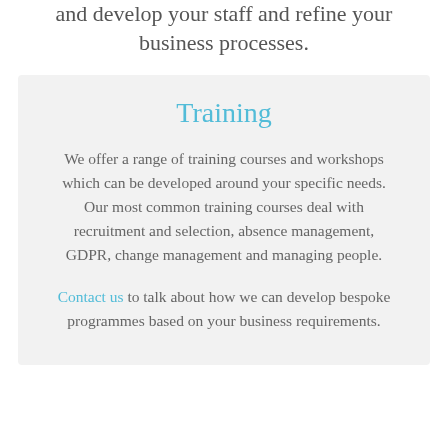and develop your staff and refine your business processes.
Training
We offer a range of training courses and workshops which can be developed around your specific needs. Our most common training courses deal with recruitment and selection, absence management, GDPR, change management and managing people.
Contact us to talk about how we can develop bespoke programmes based on your business requirements.